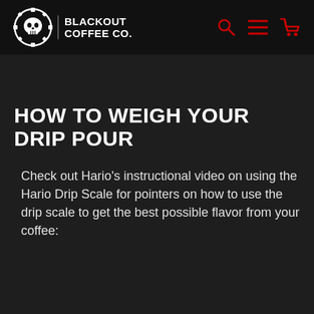BLACKOUT COFFEE CO.
HOW TO WEIGH YOUR DRIP POUR
Check out Hario's instructional video on using the Hario Drip Scale for pointers on how to use the drip scale to get the best possible flavor from your coffee: